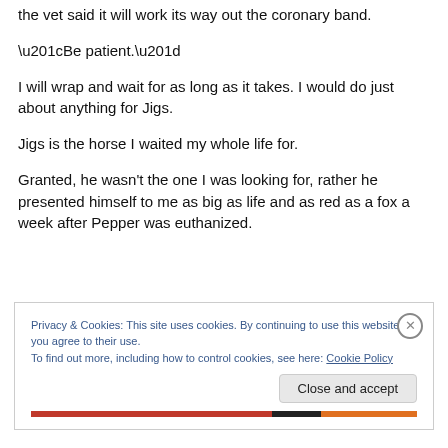the vet said it will work its way out the coronary band.
“Be patient.”
I will wrap and wait for as long as it takes. I would do just about anything for Jigs.
Jigs is the horse I waited my whole life for.
Granted, he wasn’t the one I was looking for, rather he presented himself to me as big as life and as red as a fox a week after Pepper was euthanized.
Privacy & Cookies: This site uses cookies. By continuing to use this website, you agree to their use.
To find out more, including how to control cookies, see here: Cookie Policy
Close and accept